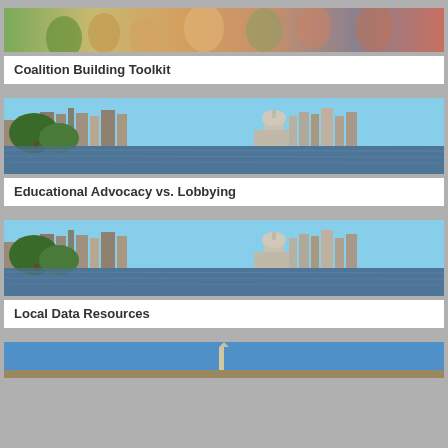[Figure (photo): Group of diverse people smiling, partially visible at top of page]
Coalition Building Toolkit
[Figure (photo): City skyline with capitol building reflected on water, trees in foreground]
Educational Advocacy vs. Lobbying
[Figure (photo): Same city skyline with capitol building reflected on water, trees in foreground]
Local Data Resources
[Figure (photo): Partial view of another photo at the bottom of the page]